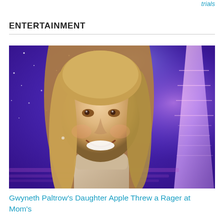trials
ENTERTAINMENT
[Figure (photo): A smiling blonde woman in a beige turtleneck sweater photographed against a purple/blue starry background with a lit tower structure on the right side.]
Gwyneth Paltrow's Daughter Apple Threw a Rager at Mom's Hamptons House That Got Shut Down by Police